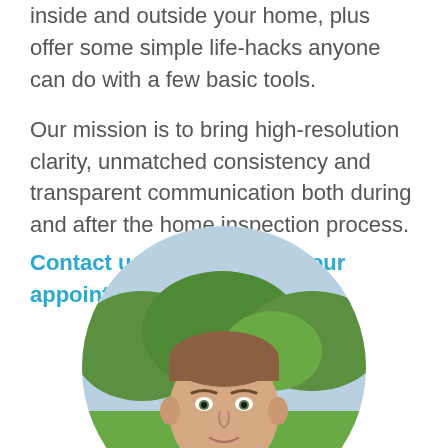inside and outside your home, plus offer some simple life-hacks anyone can do with a few basic tools.
Our mission is to bring high-resolution clarity, unmatched consistency and transparent communication both during and after the home inspection process. Contact us now to set up your appointment!
[Figure (photo): Circular cropped photo of a man with short brown hair outdoors, with green trees and light blue sky in background]